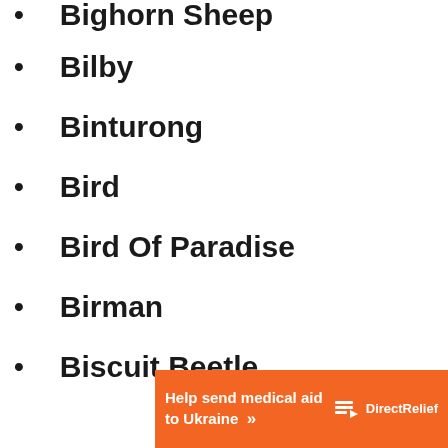Bighorn Sheep
Bilby
Binturong
Bird
Bird Of Paradise
Birman
Biscuit Beetle
Bison
Black And Tan Coonhound
Black Mamba
Black Marlin
[Figure (infographic): Orange advertisement banner for DirectRelief: 'Help send medical aid to Ukraine >>' with DirectRelief logo on the right]